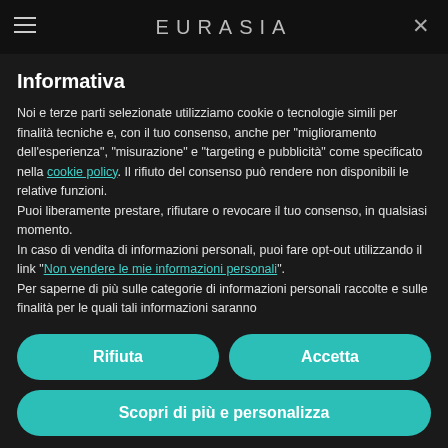EURASIA
Informativa
Noi e terze parti selezionate utilizziamo cookie o tecnologie simili per finalità tecniche e, con il tuo consenso, anche per "miglioramento dell'esperienza", "misurazione" e "targeting e pubblicità" come specificato nella cookie policy. Il rifiuto del consenso può rendere non disponibili le relative funzioni.
Puoi liberamente prestare, rifiutare o revocare il tuo consenso, in qualsiasi momento.
In caso di vendita di informazioni personali, puoi fare opt-out utilizzando il link "Non vendere le mie informazioni personali".
Per saperne di più sulle categorie di informazioni personali raccolte e sulle finalità per le quali tali informazioni saranno
Rifiuta
Accetta
Scopri di più e personalizza